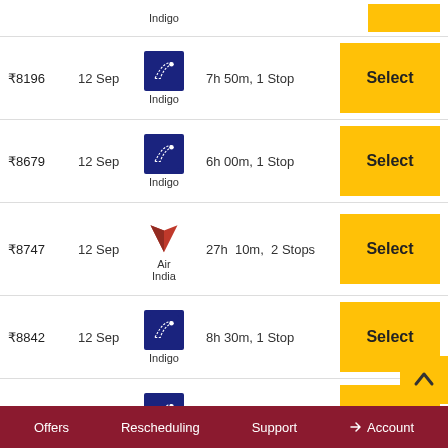| Price | Date | Airline | Duration | Action |
| --- | --- | --- | --- | --- |
|  | 12 Sep | Indigo |  | Select |
| ₹8196 | 12 Sep | Indigo | 7h 50m, 1 Stop | Select |
| ₹8679 | 12 Sep | Indigo | 6h 00m, 1 Stop | Select |
| ₹8747 | 12 Sep | Air India | 27h 10m, 2 Stops | Select |
| ₹8842 | 12 Sep | Indigo | 8h 30m, 1 Stop | Select |
| ₹9230 | 12 Sep | Indigo | 6h 00m, 1 Stop | Select |
| ₹9250 | 12 Sep | Air India | 13h 15m, 1 Stop | Se... |
Offers   Rescheduling   Support   →Account